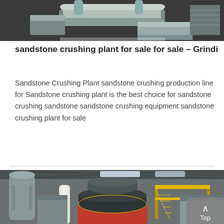[Figure (photo): Close-up photo of industrial pipes and cylindrical tanks, painted grey/light green, outdoors against a dark background.]
sandstone crushing plant for sale for sale – Grindi
Sandstone Crushing Plant sandstone crushing production line for Sandstone crushing plant is the best choice for sandstone crushing sandstone sandstone crushing equipment sandstone crushing plant for sale
[Figure (photo): Interior photo of an industrial facility/workshop showing a large grinding mill machine (dark grey/black cylinder with red base) and yellow metal staircases/platforms inside a metal-roofed building.]